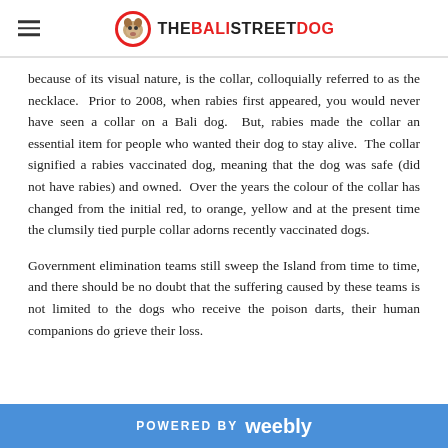THE BALI STREET DOG
because of its visual nature, is the collar, colloquially referred to as the necklace.  Prior to 2008, when rabies first appeared, you would never have seen a collar on a Bali dog.  But, rabies made the collar an essential item for people who wanted their dog to stay alive.  The collar signified a rabies vaccinated dog, meaning that the dog was safe (did not have rabies) and owned.  Over the years the colour of the collar has changed from the initial red, to orange, yellow and at the present time the clumsily tied purple collar adorns recently vaccinated dogs.
Government elimination teams still sweep the Island from time to time, and there should be no doubt that the suffering caused by these teams is not limited to the dogs who receive the poison darts, their human companions do grieve their loss.
POWERED BY weebly